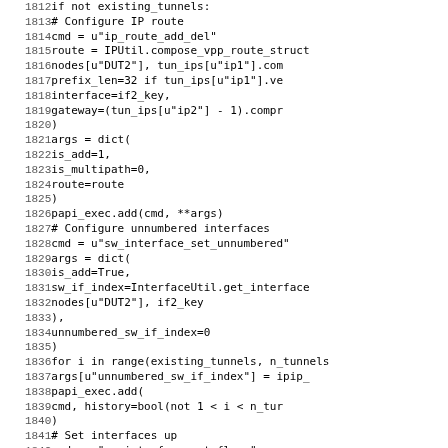[Figure (screenshot): Source code listing lines 1812-1843 showing Python code for configuring IP routes and unnumbered interfaces using papi_exec and IPUtil functions.]